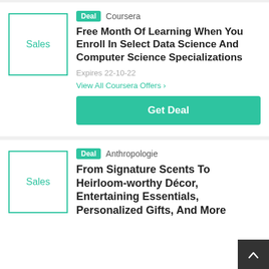[Figure (illustration): Sales thumbnail box with teal border and 'Sales' label - Coursera deal card]
Deal  Coursera
Free Month Of Learning When You Enroll In Select Data Science And Computer Science Specializations
Expires 22-10-22
View All Coursera Offers >
Get Deal
[Figure (illustration): Sales thumbnail box with teal border and 'Sales' label - Anthropologie deal card]
Deal  Anthropologie
From Signature Scents To Heirloom-worthy Décor, Entertaining Essentials, Personalized Gifts, And More